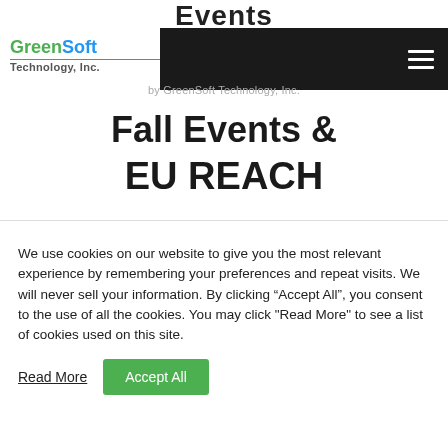Events
[Figure (logo): GreenSoft Technology, Inc. logo with green and blue text, navigation bar with black background and hamburger menu icon, tagline 'by GreenSoft Technology, Inc.']
Fall Events & EU REACH
We use cookies on our website to give you the most relevant experience by remembering your preferences and repeat visits. We will never sell your information. By clicking “Accept All”, you consent to the use of all the cookies. You may click "Read More" to see a list of cookies used on this site.